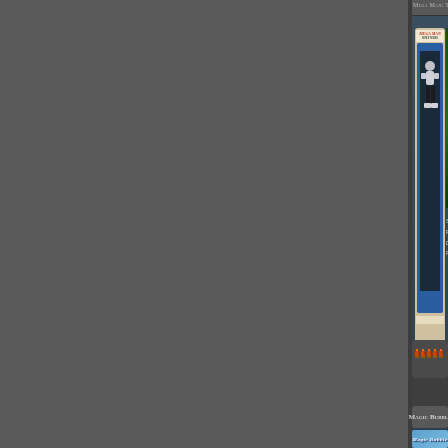Mega Man: The Wily Wars Collector's Edition
[Figure (photo): Mega Man: The Wily Wars Collector's Edition action figure in packaging - a figure card with blue border showing a white/gray Mega Man figure against dark background, with 'Mega Man The Wily Wars Collector's Edition' logo at top of card]
[Figure (screenshot): Mega Man game screenshot showing colorful pixel art game scene]
[Figure (infographic): Five fire/skull pixel art rating icons in a row on dark rounded rectangle background]
Serial
Release
Developer
Publisher
Magic Bubble
[Figure (screenshot): Magic Bubble game title screen with blue background and stylized pixel text reading 'MAGIC BUBBLE' in large colorful letters]